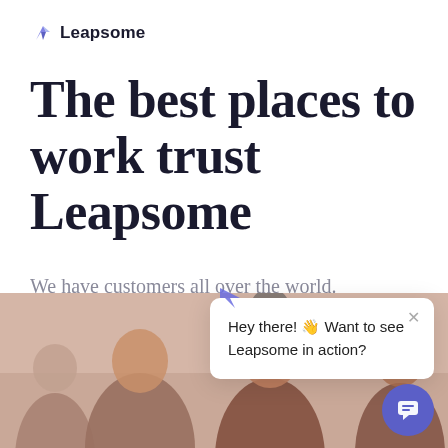[Figure (logo): Leapsome logo: stylized bird/arrow icon in purple-blue, followed by bold text 'Leapsome']
The best places to work trust Leapsome
We have customers all over the world. See what some of
[Figure (screenshot): Chat popup widget showing text 'Hey there! 👋 Want to see Leapsome in action?' with a close X button, and a purple circular chat button in the bottom right corner]
[Figure (photo): Photo of smiling people in a professional/workplace setting, partially cropped at the bottom of the page]